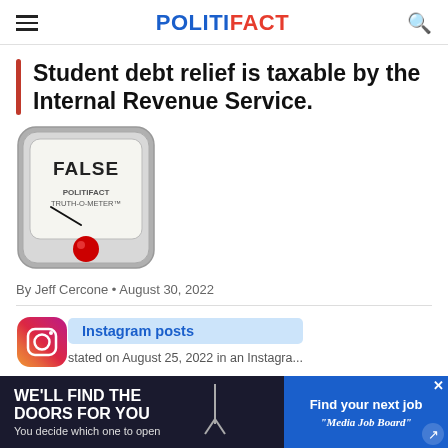POLITIFACT
Student debt relief is taxable by the Internal Revenue Service.
[Figure (illustration): PolitiFact Truth-O-Meter gauge showing FALSE rating with a red indicator at the bottom left.]
By Jeff Cercone • August 30, 2022
Instagram posts
stated on August 25, 2022 in an Instagra...
[Figure (infographic): Advertisement banner: WE'LL FIND THE DOORS FOR YOU / You decide which one to open / Find your next job / Media Job Board]